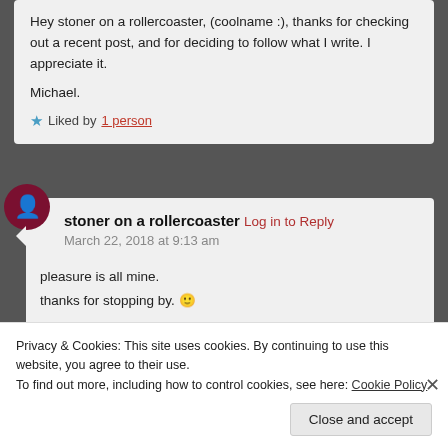Hey stoner on a rollercoaster, (coolname :), thanks for checking out a recent post, and for deciding to follow what I write. I appreciate it.

Michael.
Liked by 1 person
stoner on a rollercoaster Log in to Reply
March 22, 2018 at 9:13 am
pleasure is all mine.
thanks for stopping by. 🙂
Like
Privacy & Cookies: This site uses cookies. By continuing to use this website, you agree to their use.
To find out more, including how to control cookies, see here: Cookie Policy
Close and accept